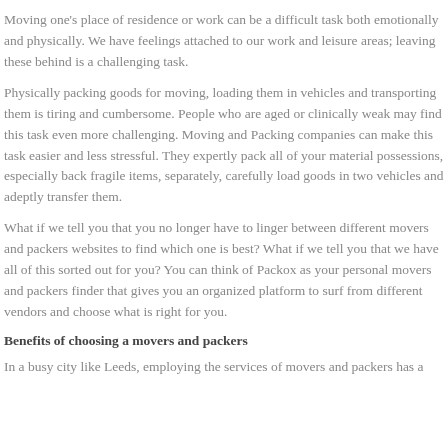Moving one's place of residence or work can be a difficult task both emotionally and physically. We have feelings attached to our work and leisure areas; leaving these behind is a challenging task.
Physically packing goods for moving, loading them in vehicles and transporting them is tiring and cumbersome. People who are aged or clinically weak may find this task even more challenging. Moving and Packing companies can make this task easier and less stressful. They expertly pack all of your material possessions, especially back fragile items, separately, carefully load goods in two vehicles and adeptly transfer them.
What if we tell you that you no longer have to linger between different movers and packers websites to find which one is best? What if we tell you that we have all of this sorted out for you? You can think of Packox as your personal movers and packers finder that gives you an organized platform to surf from different vendors and choose what is right for you.
Benefits of choosing a movers and packers
In a busy city like Leeds, employing the services of movers and packers has a